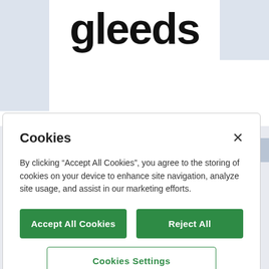[Figure (logo): Gleeds company logo in large bold black text on white background]
Cookies
By clicking “Accept All Cookies”, you agree to the storing of cookies on your device to enhance site navigation, analyze site usage, and assist in our marketing efforts.
Accept All Cookies
Reject All
Cookies Settings